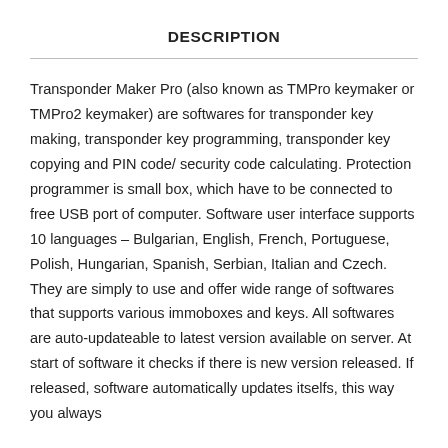DESCRIPTION
Transponder Maker Pro (also known as TMPro keymaker or TMPro2 keymaker) are softwares for transponder key making, transponder key programming, transponder key copying and PIN code/ security code calculating. Protection programmer is small box, which have to be connected to free USB port of computer. Software user interface supports 10 languages – Bulgarian, English, French, Portuguese, Polish, Hungarian, Spanish, Serbian, Italian and Czech. They are simply to use and offer wide range of softwares that supports various immoboxes and keys. All softwares are auto-updateable to latest version available on server. At start of software it checks if there is new version released. If released, software automatically updates itselfs, this way you always